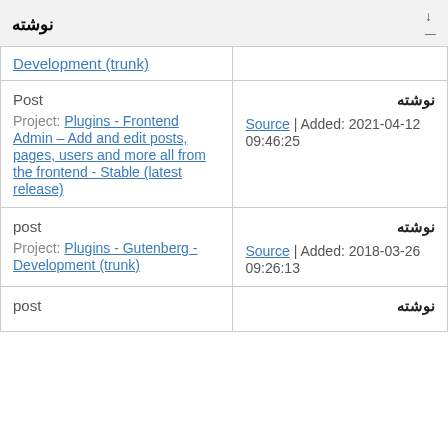نوشته
|  |  |
| --- | --- |
| Development (trunk) |  |
| Post
Project: Plugins - Frontend Admin – Add and edit posts, pages, users and more all from the frontend - Stable (latest release) | نوشته
Source | Added: 2021-04-12 09:46:25 |
| post
Project: Plugins - Gutenberg - Development (trunk) | نوشته
Source | Added: 2018-03-26 09:26:13 |
| post | نوشته |